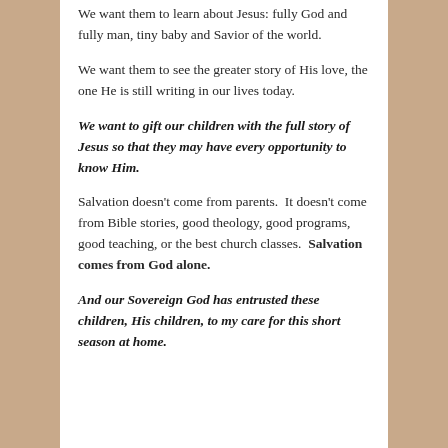We want them to learn about Jesus: fully God and fully man, tiny baby and Savior of the world.
We want them to see the greater story of His love, the one He is still writing in our lives today.
We want to gift our children with the full story of Jesus so that they may have every opportunity to know Him.
Salvation doesn't come from parents. It doesn't come from Bible stories, good theology, good programs, good teaching, or the best church classes. Salvation comes from God alone.
And our Sovereign God has entrusted these children, His children, to my care for this short season at home.